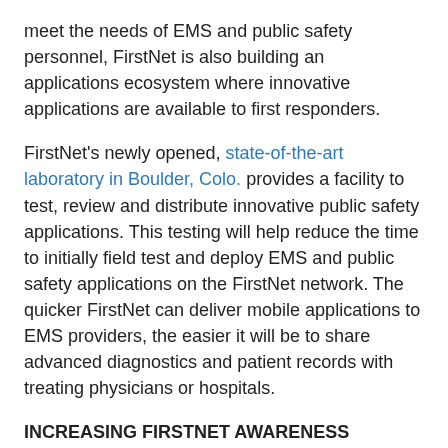meet the needs of EMS and public safety personnel, FirstNet is also building an applications ecosystem where innovative applications are available to first responders.
FirstNet's newly opened, state-of-the-art laboratory in Boulder, Colo. provides a facility to test, review and distribute innovative public safety applications. This testing will help reduce the time to initially field test and deploy EMS and public safety applications on the FirstNet network. The quicker FirstNet can deliver mobile applications to EMS providers, the easier it will be to share advanced diagnostics and patient records with treating physicians or hospitals.
INCREASING FIRSTNET AWARENESS
During the 2017 EMS Today Conference, McGinnis presented an update on FirstNet to a pre-conference